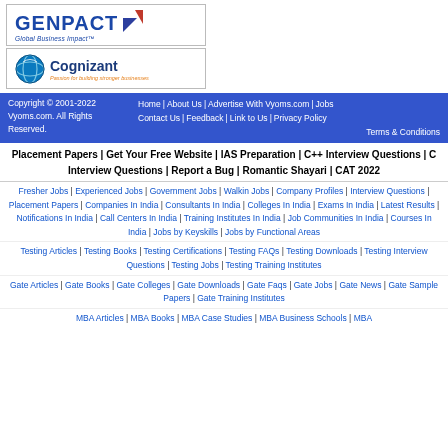[Figure (logo): Genpact logo with blue text and triangles, tagline: Global Business Impact™]
[Figure (logo): Cognizant logo with globe icon, tagline: Passion for building stronger businesses]
Copyright © 2001-2022 Vyoms.com. All Rights Reserved. | Home | About Us | Advertise With Vyoms.com | Jobs | Contact Us | Feedback | Link to Us | Privacy Policy | Terms & Conditions
Placement Papers | Get Your Free Website | IAS Preparation | C++ Interview Questions | C Interview Questions | Report a Bug | Romantic Shayari | CAT 2022
Fresher Jobs | Experienced Jobs | Government Jobs | Walkin Jobs | Company Profiles | Interview Questions | Placement Papers | Companies In India | Consultants In India | Colleges In India | Exams In India | Latest Results | Notifications In India | Call Centers In India | Training Institutes In India | Job Communities In India | Courses In India | Jobs by Keyskills | Jobs by Functional Areas
Testing Articles | Testing Books | Testing Certifications | Testing FAQs | Testing Downloads | Testing Interview Questions | Testing Jobs | Testing Training Institutes
Gate Articles | Gate Books | Gate Colleges | Gate Downloads | Gate Faqs | Gate Jobs | Gate News | Gate Sample Papers | Gate Training Institutes
MBA Articles | MBA Books | MBA Case Studies | MBA Business Schools | MBA